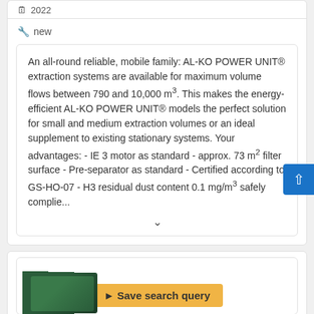2022
new
An all-round reliable, mobile family: AL-KO POWER UNIT® extraction systems are available for maximum volume flows between 790 and 10,000 m³. This makes the energy-efficient AL-KO POWER UNIT® models the perfect solution for small and medium extraction volumes or an ideal supplement to existing stationary systems. Your advantages: - IE 3 motor as standard - approx. 73 m² filter surface - Pre-separator as standard - Certified according to GS-HO-07 - H3 residual dust content 0.1 mg/m³ safely complie...
[Figure (screenshot): Save search query button overlay on product image at bottom of page]